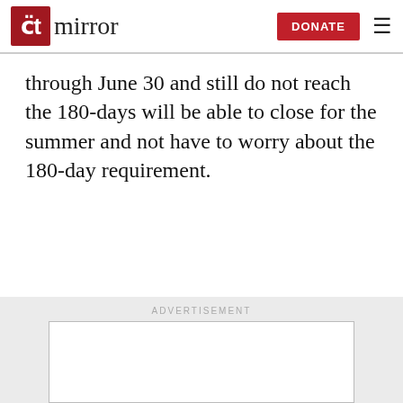the ct mirror | DONATE
through June 30 and still do not reach the 180-days will be able to close for the summer and not have to worry about the 180-day requirement.
[Figure (other): Advertisement placeholder box with 'ADVERTISEMENT' label above it on a light grey background]